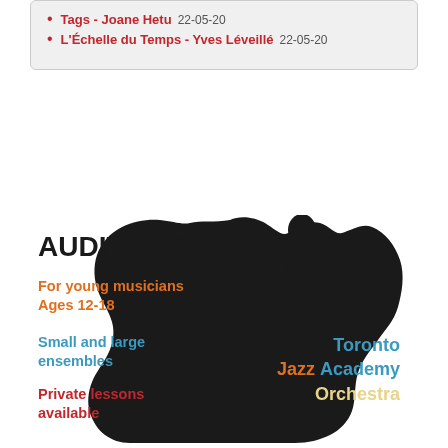Tags - Joane Hetu 22-05-20
L'Échelle du Temps - Yves Léveillé 22-05-20
[Figure (illustration): Toronto Jazz Academy Orchestra auditions poster with silhouette of jazz musicians. Text: AUDITIONS! For young musicians Ages 12-18. Small and large ensembles. Private lessons available. Toronto Jazz Academy Orchestra.]